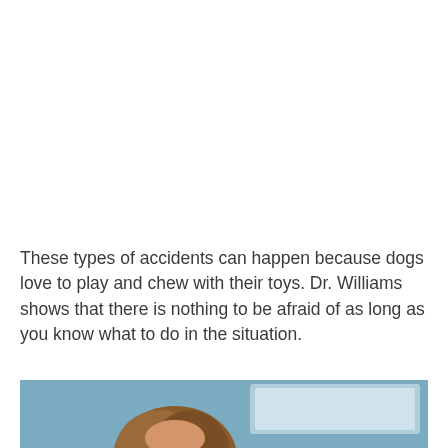These types of accidents can happen because dogs love to play and chew with their toys. Dr. Williams shows that there is nothing to be afraid of as long as you know what to do in the situation.
[Figure (photo): Photo of a person (Dr. Williams) with brown hair, partially visible at the bottom of the page, with a blue/teal background and what appears to be a screen or whiteboard behind them.]